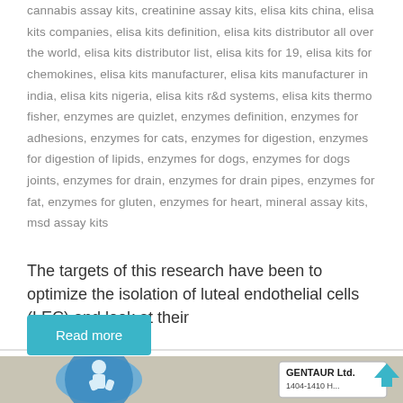cannabis assay kits, creatinine assay kits, elisa kits china, elisa kits companies, elisa kits definition, elisa kits distributor all over the world, elisa kits distributor list, elisa kits for 19, elisa kits for chemokines, elisa kits manufacturer, elisa kits manufacturer in india, elisa kits nigeria, elisa kits r&d systems, elisa kits thermo fisher, enzymes are quizlet, enzymes definition, enzymes for adhesions, enzymes for cats, enzymes for digestion, enzymes for digestion of lipids, enzymes for dogs, enzymes for dogs joints, enzymes for drain, enzymes for drain pipes, enzymes for fat, enzymes for gluten, enzymes for heart, mineral assay kits, msd assay kits
The targets of this research have been to optimize the isolation of luteal endothelial cells (LEC) and look at their
Read more
[Figure (photo): Partial photo showing a laboratory or product image with a blue circular logo and a white box labeled GENTAUR Ltd. with partial address text]